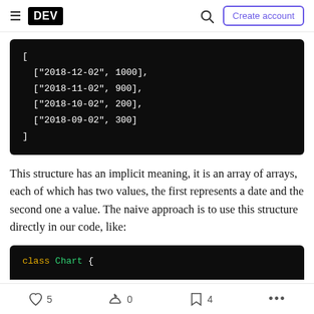DEV | Create account
[
  ["2018-12-02", 1000],
  ["2018-11-02", 900],
  ["2018-10-02", 200],
  ["2018-09-02", 300]
]
This structure has an implicit meaning, it is an array of arrays, each of which has two values, the first represents a date and the second one a value. The naive approach is to use this structure directly in our code, like:
class Chart {
5  0  4  ...